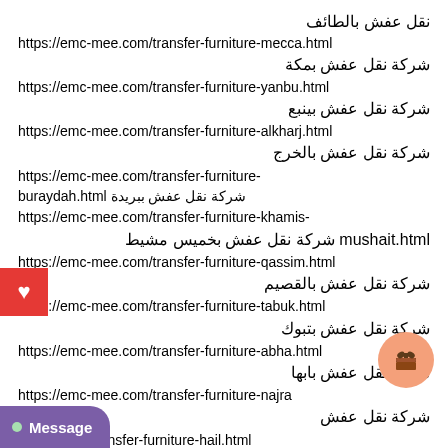نقل عفش بالطائف
https://emc-mee.com/transfer-furniture-mecca.html
شركة نقل عفش بمكة
https://emc-mee.com/transfer-furniture-yanbu.html
شركة نقل عفش بينبع
https://emc-mee.com/transfer-furniture-alkharj.html
شركة نقل عفش بالخرج
https://emc-mee.com/transfer-furniture-buraydah.html شركة نقل عفش ببريدة
https://emc-mee.com/transfer-furniture-khamis-mushait.html شركة نقل عفش بخميس مشيط
https://emc-mee.com/transfer-furniture-qassim.html
شركة نقل عفش بالقصيم
https://emc-mee.com/transfer-furniture-tabuk.html
شركة نقل عفش بتبوك
https://emc-mee.com/transfer-furniture-abha.html
شركة نقل عفش بابها
https://emc-mee.com/transfer-furniture-najra...
شركة نقل عفش...
...c-mee.com/transfer-furniture-hail.html